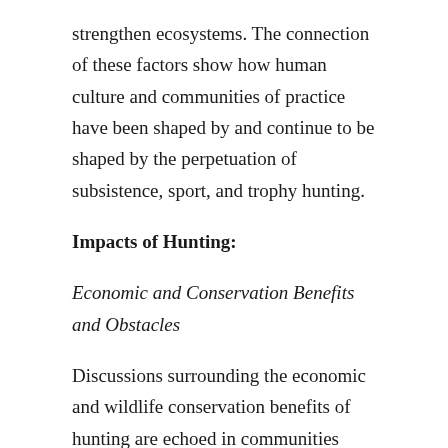strengthen ecosystems. The connection of these factors show how human culture and communities of practice have been shaped by and continue to be shaped by the perpetuation of subsistence, sport, and trophy hunting.
Impacts of Hunting:
Economic and Conservation Benefits and Obstacles
Discussions surrounding the economic and wildlife conservation benefits of hunting are echoed in communities across the world, especially in places such as Ethiopia, the Canadian Arctic, and Zimbabwe, where an increased interest in trophy hunting from outside of the communities has led to a rise in hunting tourism.